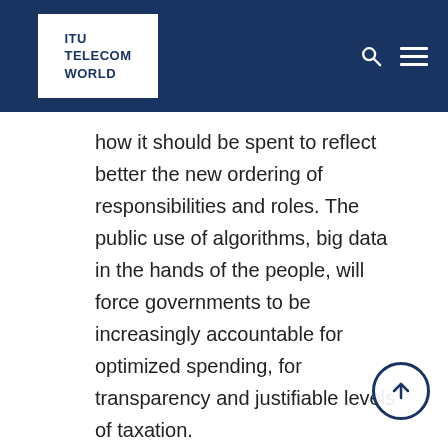ITU TELECOM WORLD
how it should be spent to reflect better the new ordering of responsibilities and roles. The public use of algorithms, big data in the hands of the people, will force governments to be increasingly accountable for optimized spending, for transparency and justifiable levels of taxation.
Open data initiatives, cameras, sensors and drones will enable citizens and consumers to scrutinize the behavior of corporates and governments alike, establishing a fairer balance of power than the current asymmetric set up government must prepare for a transition to a smaller, more efficient role with a different scope, facilitating and enabling citizens rather than